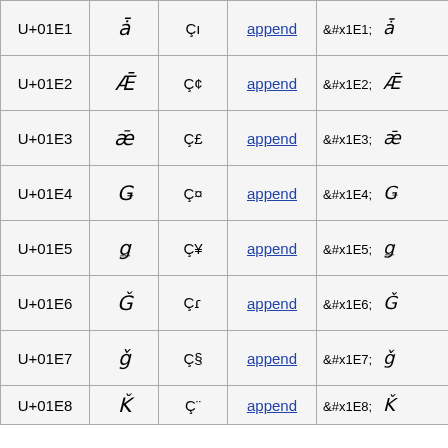| U+01E1 | ǡ | Çı | append | &#x1E1;   ǡ |
| U+01E2 | Ǣ | Ç¢ | append | &#x1E2;   Ǣ |
| U+01E3 | ǣ | Ç£ | append | &#x1E3;   ǣ |
| U+01E4 | Ǥ | Ç¤ | append | &#x1E4;   Ǥ |
| U+01E5 | ǥ | Ç¥ | append | &#x1E5;   ǥ |
| U+01E6 | Ǧ | Çı | append | &#x1E6;   Ǧ |
| U+01E7 | ǧ | Ç§ | append | &#x1E7;   ǧ |
| U+01E8 | Ǩ | Ç¨ | append | &#x1E8;   Ǩ |